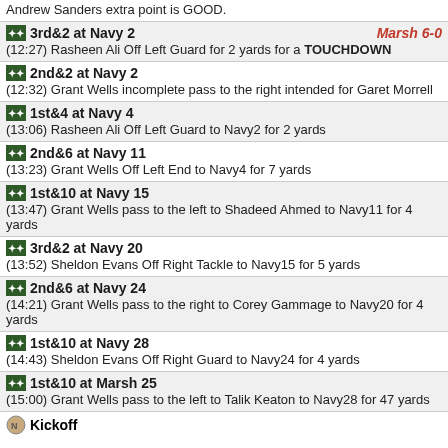Andrew Sanders extra point is GOOD.
3rd&2 at Navy 2 | Marsh 6-0 | (12:27) Rasheen Ali Off Left Guard for 2 yards for a TOUCHDOWN
2nd&2 at Navy 2 | (12:32) Grant Wells incomplete pass to the right intended for Garet Morrell
1st&4 at Navy 4 | (13:06) Rasheen Ali Off Left Guard to Navy2 for 2 yards
2nd&6 at Navy 11 | (13:23) Grant Wells Off Left End to Navy4 for 7 yards
1st&10 at Navy 15 | (13:47) Grant Wells pass to the left to Shadeed Ahmed to Navy11 for 4 yards
3rd&2 at Navy 20 | (13:52) Sheldon Evans Off Right Tackle to Navy15 for 5 yards
2nd&6 at Navy 24 | (14:21) Grant Wells pass to the right to Corey Gammage to Navy20 for 4 yards
1st&10 at Navy 28 | (14:43) Sheldon Evans Off Right Guard to Navy24 for 4 yards
1st&10 at Marsh 25 | (15:00) Grant Wells pass to the left to Talik Keaton to Navy28 for 47 yards
Kickoff